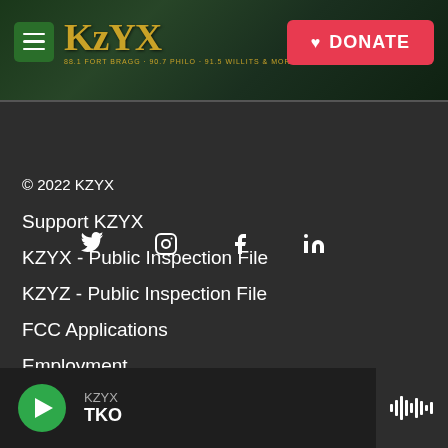[Figure (screenshot): KZYX radio station website header with green forest background, hamburger menu icon, KZYX logo in gold text, and red DONATE button]
[Figure (infographic): Social media icons row: Twitter (bird), Instagram, Facebook, LinkedIn]
© 2022 KZYX
Support KZYX
KZYX - Public Inspection File
KZYZ - Public Inspection File
FCC Applications
Employment
KZYX/KZYZ MCPB - Tax Return
[Figure (infographic): Audio player bar at bottom showing KZYX station, song TKO, green play button, and waveform icon]